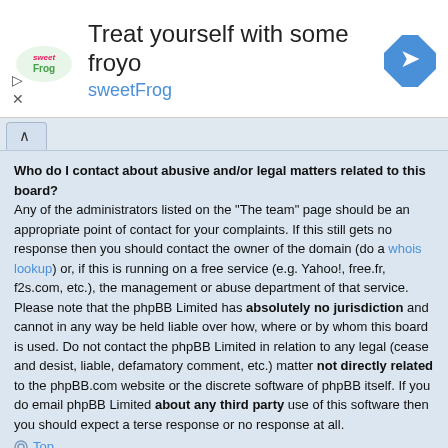[Figure (other): sweetFrog froyo advertisement banner with logo, text 'Treat yourself with some froyo sweetFrog', and a navigation arrow icon]
Who do I contact about abusive and/or legal matters related to this board? Any of the administrators listed on the "The team" page should be an appropriate point of contact for your complaints. If this still gets no response then you should contact the owner of the domain (do a whois lookup) or, if this is running on a free service (e.g. Yahoo!, free.fr, f2s.com, etc.), the management or abuse department of that service. Please note that the phpBB Limited has absolutely no jurisdiction and cannot in any way be held liable over how, where or by whom this board is used. Do not contact the phpBB Limited in relation to any legal (cease and desist, liable, defamatory comment, etc.) matter not directly related to the phpBB.com website or the discrete software of phpBB itself. If you do email phpBB Limited about any third party use of this software then you should expect a terse response or no response at all.
Top
How do I contact a board administrator?
All users of the board can use the "Contact us" form, if the option was enabled by the board administrator.
Members of the board can also use the "The team" link.
Top